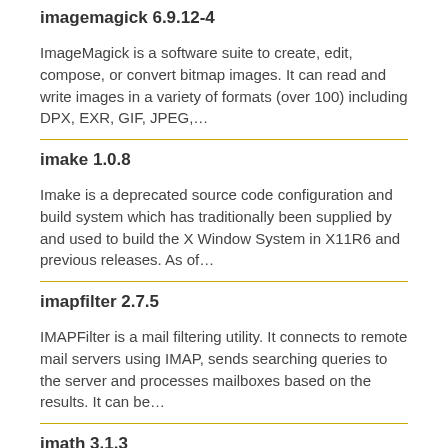imagemagick 6.9.12-4
ImageMagick is a software suite to create, edit, compose, or convert bitmap images. It can read and write images in a variety of formats (over 100) including DPX, EXR, GIF, JPEG,…
imake 1.0.8
Imake is a deprecated source code configuration and build system which has traditionally been supplied by and used to build the X Window System in X11R6 and previous releases. As of…
imapfilter 2.7.5
IMAPFilter is a mail filtering utility. It connects to remote mail servers using IMAP, sends searching queries to the server and processes mailboxes based on the results. It can be…
imath 3.1.3